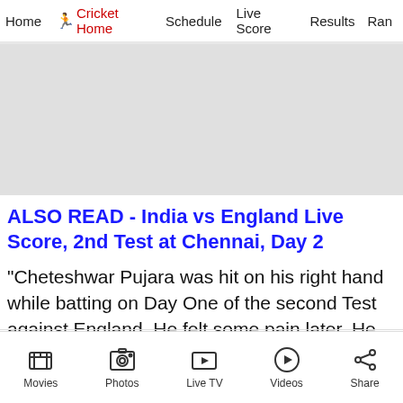Home | Cricket Home | Schedule | Live Score | Results | Ran...
[Figure (other): Advertisement banner placeholder (gray rectangle)]
ALSO READ - India vs England Live Score, 2nd Test at Chennai, Day 2
“Cheteshwar Pujara was hit on his right hand while batting on Day One of the second Test against England. He felt some pain later. He will not be fielding today," read an update from the Board of Control for Cricket in India (BCCI).
Pujara had sustained numerous blows on his
Movies | Photos | Live TV | Videos | Share